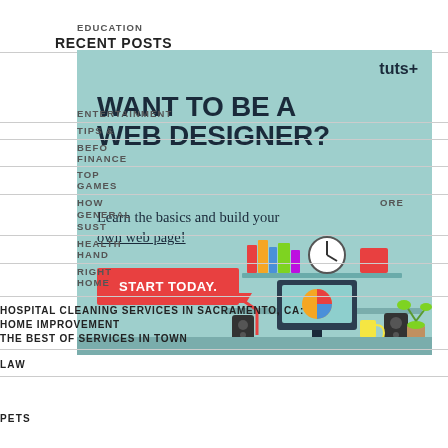EDUCATION
RECENT POSTS
[Figure (infographic): tuts+ advertisement banner with teal background. Headline: WANT TO BE A WEB DESIGNER? Subtext: Learn the basics and build your own web page! Red button: START TODAY. Illustration of desk with computer, books, speakers, lamp, clock, plant.]
ENTERTAINMENT
TIPS & ...
BEFORE ...
FINANCE ...
TOP ...
GAMES
HOW ... MORE
GENERAL
SUST...
HEALTH...
HAND...
RIGHT...
HOME
HOSPITAL CLEANING SERVICES IN SACRAMENTO, CA:
HOME IMPROVEMENT
THE BEST OF SERVICES IN TOWN
LAW
PETS